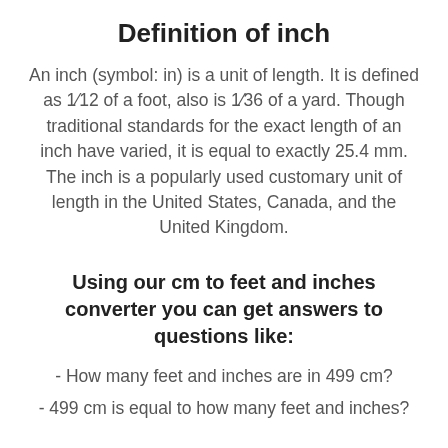Definition of inch
An inch (symbol: in) is a unit of length. It is defined as 1⁄12 of a foot, also is 1⁄36 of a yard. Though traditional standards for the exact length of an inch have varied, it is equal to exactly 25.4 mm. The inch is a popularly used customary unit of length in the United States, Canada, and the United Kingdom.
Using our cm to feet and inches converter you can get answers to questions like:
- How many feet and inches are in 499 cm?
- 499 cm is equal to how many feet and inches?